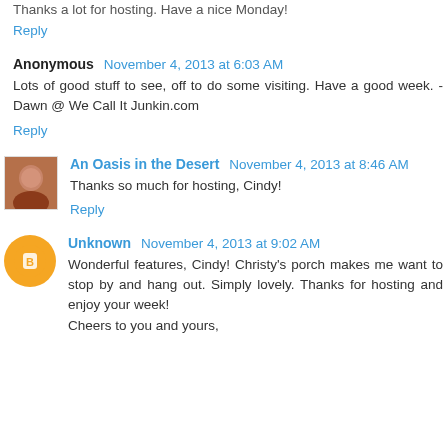Thanks a lot for hosting. Have a nice Monday!
Reply
Anonymous November 4, 2013 at 6:03 AM
Lots of good stuff to see, off to do some visiting. Have a good week. -Dawn @ We Call It Junkin.com
Reply
An Oasis in the Desert November 4, 2013 at 8:46 AM
Thanks so much for hosting, Cindy!
Reply
Unknown November 4, 2013 at 9:02 AM
Wonderful features, Cindy! Christy's porch makes me want to stop by and hang out. Simply lovely. Thanks for hosting and enjoy your week!
Cheers to you and yours,